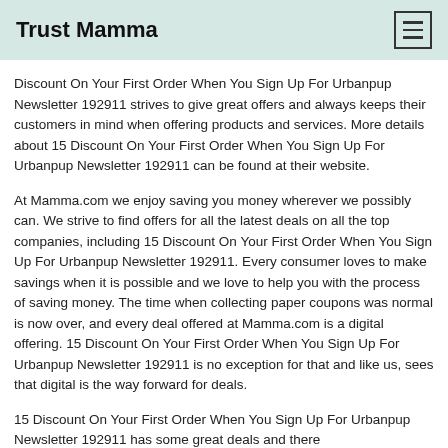Trust Mamma
Discount On Your First Order When You Sign Up For Urbanpup Newsletter 192911 strives to give great offers and always keeps their customers in mind when offering products and services. More details about 15 Discount On Your First Order When You Sign Up For Urbanpup Newsletter 192911 can be found at their website.
At Mamma.com we enjoy saving you money wherever we possibly can. We strive to find offers for all the latest deals on all the top companies, including 15 Discount On Your First Order When You Sign Up For Urbanpup Newsletter 192911. Every consumer loves to make savings when it is possible and we love to help you with the process of saving money. The time when collecting paper coupons was normal is now over, and every deal offered at Mamma.com is a digital offering. 15 Discount On Your First Order When You Sign Up For Urbanpup Newsletter 192911 is no exception for that and like us, sees that digital is the way forward for deals.
15 Discount On Your First Order When You Sign Up For Urbanpup Newsletter 192911 has some great deals and there